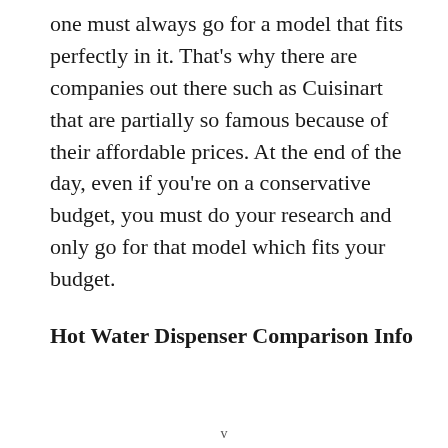one must always go for a model that fits perfectly in it. That's why there are companies out there such as Cuisinart that are partially so famous because of their affordable prices. At the end of the day, even if you're on a conservative budget, you must do your research and only go for that model which fits your budget.
Hot Water Dispenser Comparison Info
v